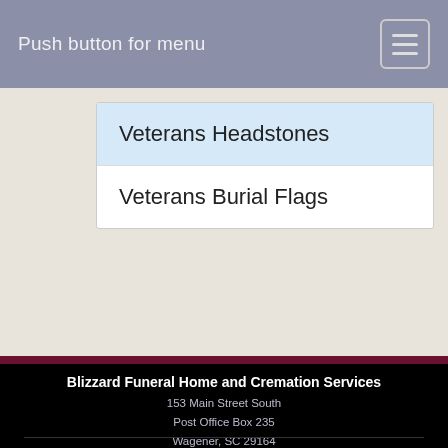Push button for menu
Veterans Headstones
Veterans Burial Flags
Blizzard Funeral Home and Cremation Services
153 Main Street South
Post Office Box 235
Wagener, SC 29164
Tel: 1-803-564-5333
Fax: 1-803-564-5111
blizzardfuneralhome@gmail.com